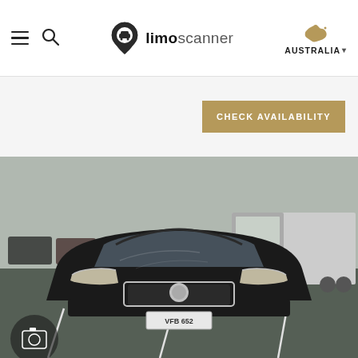limoscanner — AUSTRALIA
CHECK AVAILABILITY
[Figure (photo): Front view of a black Holden sedan parked in a parking lot, with other vehicles and a truck visible in the background. The car's license plate reads VFB 652.]